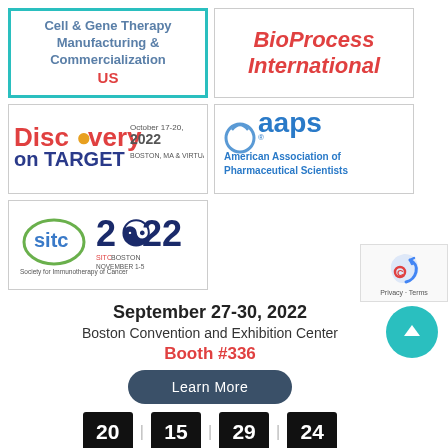[Figure (logo): Cell & Gene Therapy Manufacturing & Commercialization US logo with teal border]
[Figure (logo): BioProcess International logo in red italic text]
[Figure (logo): Discovery on Target logo with October 17-20, 2022 Boston, MA & Virtual]
[Figure (logo): AAPS American Association of Pharmaceutical Scientists logo]
[Figure (logo): SITC Society for Immunotherapy of Cancer 2022 Boston logo]
September 27-30, 2022
Boston Convention and Exhibition Center
Booth #336
Learn More
20 15 29 24